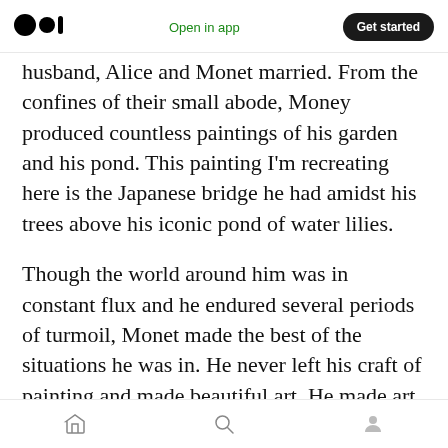Medium logo | Open in app | Get started
husband, Alice and Monet married. From the confines of their small abode, Money produced countless paintings of his garden and his pond. This painting I'm recreating here is the Japanese bridge he had amidst his trees above his iconic pond of water lilies.
Though the world around him was in constant flux and he endured several periods of turmoil, Monet made the best of the situations he was in. He never left his craft of painting and made beautiful art. He made art so that others could enjoy the beauty that he saw in the world. Even
Home | Search | Profile